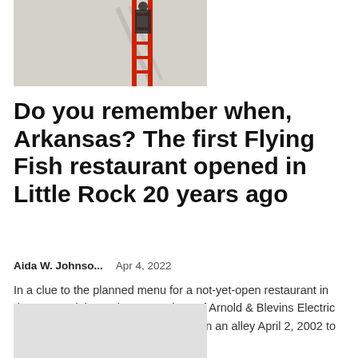[Figure (photo): A person on a red ladder leaning against a wall in an alley, partially cropped at top of page]
Do you remember when, Arkansas? The first Flying Fish restaurant opened in Little Rock 20 years ago
Aida W. Johnso...    Apr 4, 2022
In a clue to the planned menu for a not-yet-open restaurant in downtown Little Rock, Lance Shaw of Arnold & Blevins Electric in North Little Rock climbed a ladder in an alley April 2, 2002 to install light fixtures around of an old...
[Figure (photo): Partially visible image at the bottom of the page, light gray placeholder]